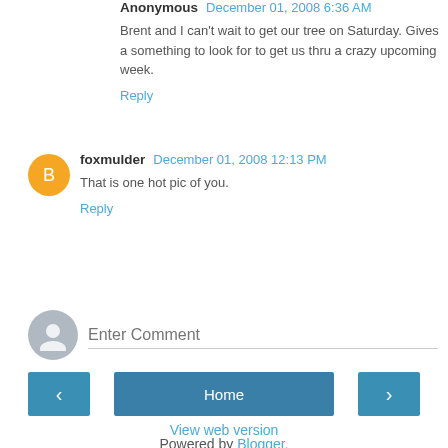Anonymous December 01, 2008 6:36 AM
Brent and I can't wait to get our tree on Saturday. Gives a something to look for to get us thru a crazy upcoming week.
Reply
foxmulder December 01, 2008 12:13 PM
That is one hot pic of you.
Reply
Enter Comment
Home
View web version
Powered by Blogger.